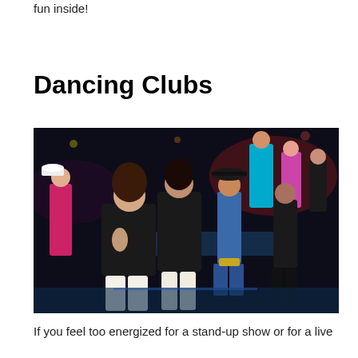fun inside!
Dancing Clubs
[Figure (photo): A crowd of people dancing at a nightclub. In the foreground, two young women in dark outfits are dancing and posing for the camera. Behind them, more people are dancing including a man in a cowboy hat and jeans. The venue is dimly lit with colored lights.]
If you feel too energized for a stand-up show or for a live